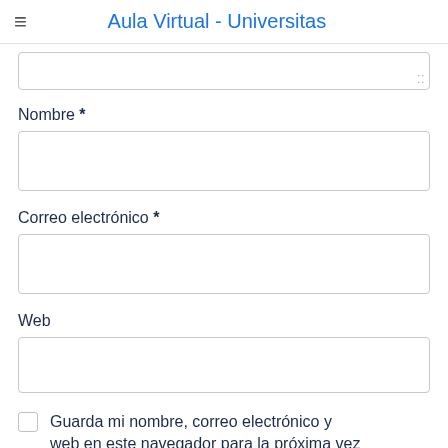Aula Virtual - Universitas
Nombre *
Correo electrónico *
Web
Guarda mi nombre, correo electrónico y web en este navegador para la próxima vez